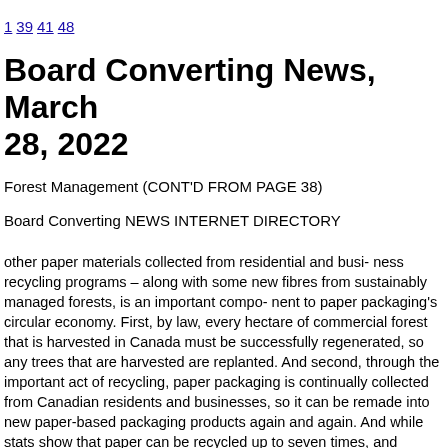1 39 41 48
Board Converting News, March 28, 2022
Forest Management (CONT'D FROM PAGE 38)
Board Converting NEWS INTERNET DIRECTORY
other paper materials collected from residential and busi- ness recycling programs – along with some new fibres from sustainably managed forests, is an important compo- nent to paper packaging's circular economy. First, by law, every hectare of commercial forest that is harvested in Canada must be successfully regenerated, so any trees that are harvested are replanted. And second, through the important act of recycling, paper packaging is continually collected from Canadian residents and businesses, so it can be remade into new paper-based packaging products again and again. And while stats show that paper can be recycled up to seven times, and corrugated box fibres up to ten times, a recent study from Graz University of